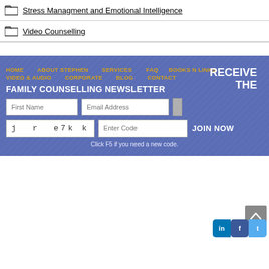Stress Managment and Emotional Intelligence
Video Counselling
HOME  ABOUT STEPHEN  SERVICES  FAQ  BOOKS N LINKS  VIDEO & AUDIO  CORPORATE  BLOG  CONTACT  RECEIVE THE FAMILY COUNSELLING NEWSLETTER  First Name  Email Address  j r e7 k k  Enter Code  JOIN NOW  Click F5 if you need a new code.